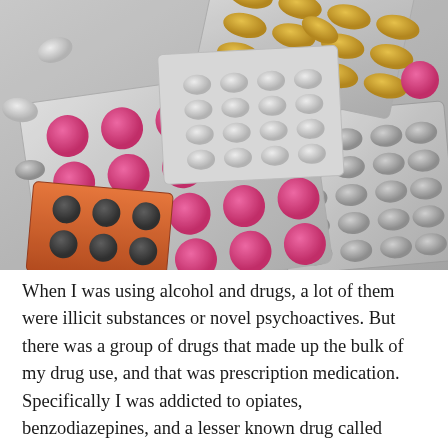[Figure (photo): A pile of various medication blister packs containing pills of different colors — pink, yellow, white, and dark brown tablets and capsules in silver, orange, and gray blister packaging, viewed from above.]
When I was using alcohol and drugs, a lot of them were illicit substances or novel psychoactives. But there was a group of drugs that made up the bulk of my drug use, and that was prescription medication. Specifically I was addicted to opiates, benzodiazepines, and a lesser known drug called